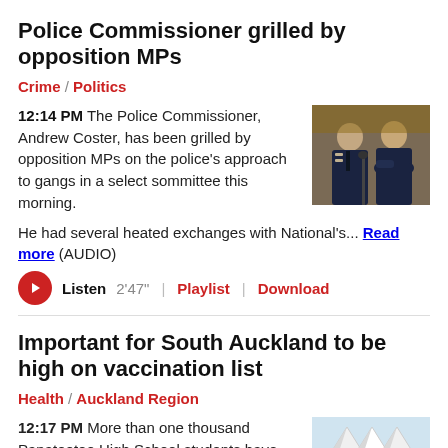Police Commissioner grilled by opposition MPs
Crime / Politics
12:14 PM The Police Commissioner, Andrew Coster, has been grilled by opposition MPs on the police's approach to gangs in a select sommittee this morning.
[Figure (photo): Two police officers in uniform seated at a table]
He had several heated exchanges with National's... Read more (AUDIO)
Listen 2'47" | Playlist | Download
Important for South Auckland to be high on vaccination list
Health / Auckland Region
12:17 PM More than one thousand Papatoetoe High School students have been re-tested for Covid-19 since Tuesday after...
[Figure (photo): Outdoor tent structure for Covid-19 testing]